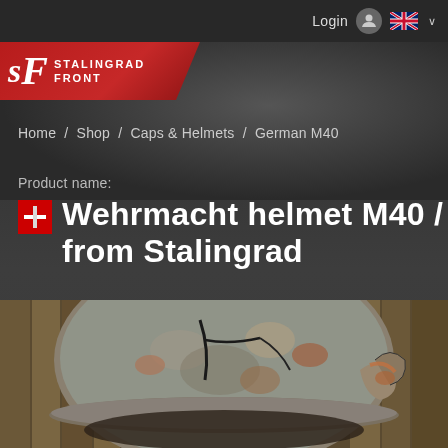Login
[Figure (logo): Stalingrad Front logo — red banner with stylized S F letters and text STALINGRAD FRONT]
Home / Shop / Caps & Helmets / German M40
Product name:
Wehrmacht helmet M40 / from Stalingrad
[Figure (photo): Close-up photograph of a damaged/rusted Wehrmacht M40 helmet from Stalingrad, showing cracks and corrosion]